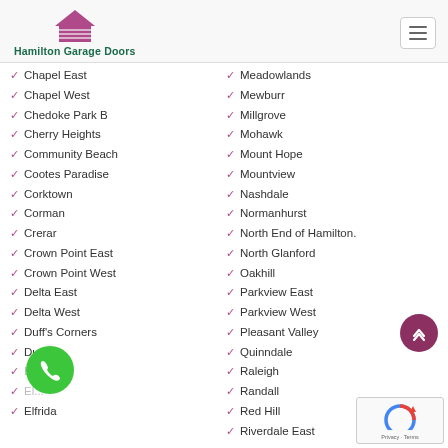Hamilton Garage Doors
Chapel East
Chapel West
Chedoke Park B
Cherry Heights
Community Beach
Cootes Paradise
Corktown
Corman
Crerar
Crown Point East
Crown Point West
Delta East
Delta West
Duff's Corners
Dundas
Meadowlands
Mewburr
Millgrove
Mohawk
Mount Hope
Mountview
Nashdale
Normanhurst
North End of Hamilton.
North Glanford
Oakhill
Parkview East
Parkview West
Pleasant Valley
Quinndale
Raleigh
Randall
Red Hill
Riverdale East
Elfrida